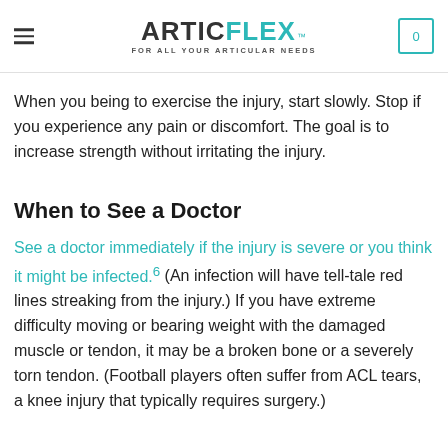ARTICFLEX™ — FOR ALL YOUR ARTICULAR NEEDS
example, if you improve the blood flow and build up strength in the surrounding muscles before they can stabilize the joint properly when you begin to train again.
When you being to exercise the injury, start slowly. Stop if you experience any pain or discomfort. The goal is to increase strength without irritating the injury.
When to See a Doctor
See a doctor immediately if the injury is severe or you think it might be infected.⁶ (An infection will have tell-tale red lines streaking from the injury.) If you have extreme difficulty moving or bearing weight with the damaged muscle or tendon, it may be a broken bone or a severely torn tendon. (Football players often suffer from ACL tears, a knee injury that typically requires surgery.)